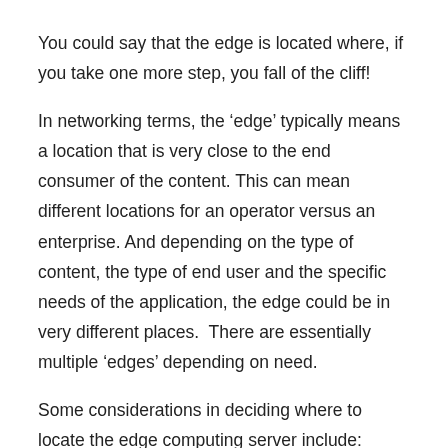You could say that the edge is located where, if you take one more step, you fall of the cliff!
In networking terms, the ‘edge’ typically means a location that is very close to the end consumer of the content. This can mean different locations for an operator versus an enterprise. And depending on the type of content, the type of end user and the specific needs of the application, the edge could be in very different places.  There are essentially multiple ‘edges’ depending on need.
Some considerations in deciding where to locate the edge computing server include:
How much latency can the given function tolerate?